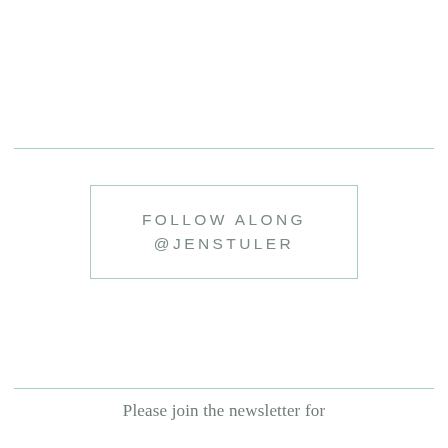FOLLOW ALONG
@JENSTULER
Please join the newsletter for